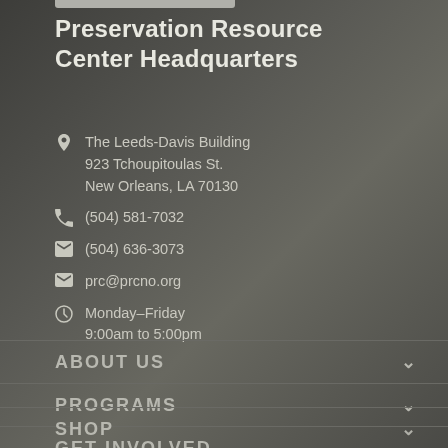Preservation Resource Center Headquarters
The Leeds-Davis Building
923 Tchoupitoulas St.
New Orleans, LA 70130
(504) 581-7032
(504) 636-3073
prc@prcno.org
Monday–Friday
9:00am to 5:00pm
ABOUT US
PROGRAMS
GET INVOLVED
SHOP